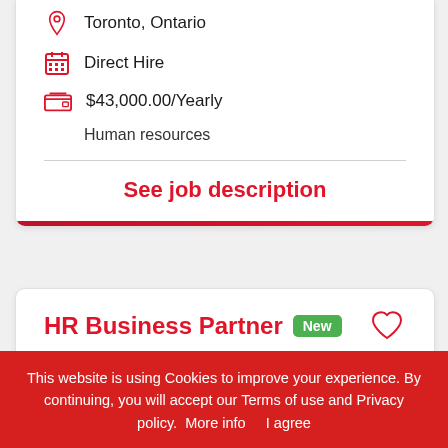Toronto, Ontario
Direct Hire
$43,000.00/Yearly
Human resources
See job description
HR Business Partner New
This website is using Cookies to improve your experience. By continuing, you will accept our Terms of use and Privacy policy.  More info     I agree